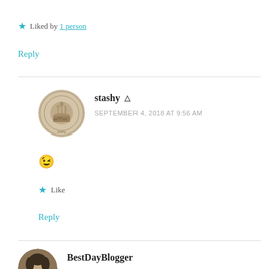★ Liked by 1 person
Reply
stashy ▲ SEPTEMBER 4, 2018 AT 9:56 AM
😉
★ Like
Reply
BestDayBlogger